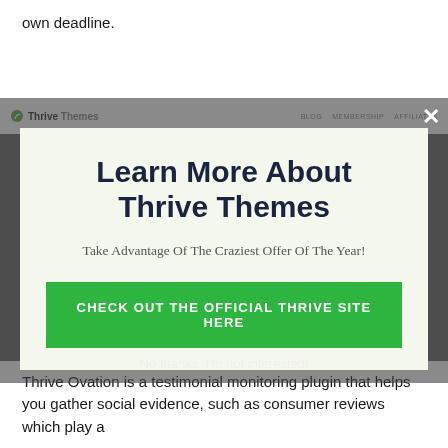own deadline.
[Figure (screenshot): Thrive Themes website navbar with logo and navigation links, partially visible behind modal popup]
[Figure (screenshot): Modal popup with light green background. Title: 'Learn More About Thrive Themes'. Subtitle: 'Take Advantage Of The Craziest Offer Of The Year!'. Green CTA button: 'CHECK OUT THE OFFICIAL THRIVE SITE HERE'. Close X button in top right corner. Dismiss link: 'No thanks, I'm not interested!']
Thrive Ovation is a testimonial monitoring plugin that helps you gather social evidence, such as consumer reviews which play a